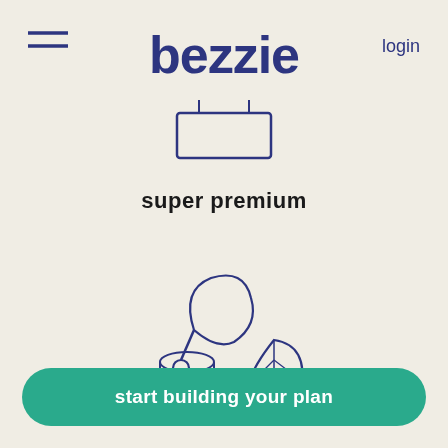[Figure (logo): Bezzie brand logo in dark navy handwritten-style font]
login
[Figure (illustration): Simple line drawing of a signboard/billboard with two posts]
super premium
[Figure (illustration): Line drawings of food ingredients: a chicken leg/drumstick, a cylindrical container/tin, and a leaf]
start building your plan